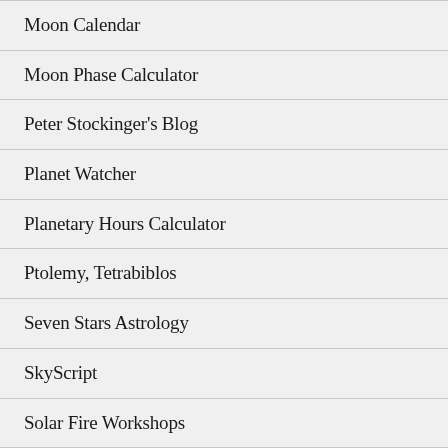Moon Calendar
Moon Phase Calculator
Peter Stockinger's Blog
Planet Watcher
Planetary Hours Calculator
Ptolemy, Tetrabiblos
Seven Stars Astrology
SkyScript
Solar Fire Workshops